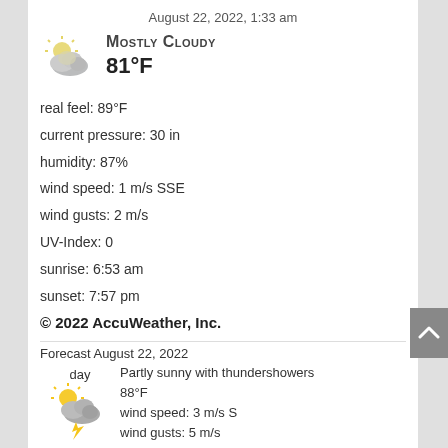August 22, 2022, 1:33 am
[Figure (illustration): Mostly cloudy weather icon: cloud with sun behind]
Mostly cloudy
81°F
real feel: 89°F
current pressure: 30 in
humidity: 87%
wind speed: 1 m/s SSE
wind gusts: 2 m/s
UV-Index: 0
sunrise: 6:53 am
sunset: 7:57 pm
© 2022 AccuWeather, Inc.
Forecast August 22, 2022
day
[Figure (illustration): Partly sunny with thundershowers weather icon]
Partly sunny with thundershowers
88°F
wind speed: 3 m/s S
wind gusts: 5 m/s
max. UV-Index: 5